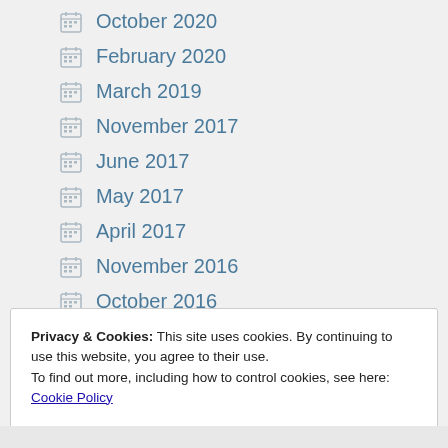October 2020
February 2020
March 2019
November 2017
June 2017
May 2017
April 2017
November 2016
October 2016
Privacy & Cookies: This site uses cookies. By continuing to use this website, you agree to their use.
To find out more, including how to control cookies, see here: Cookie Policy
Close and accept